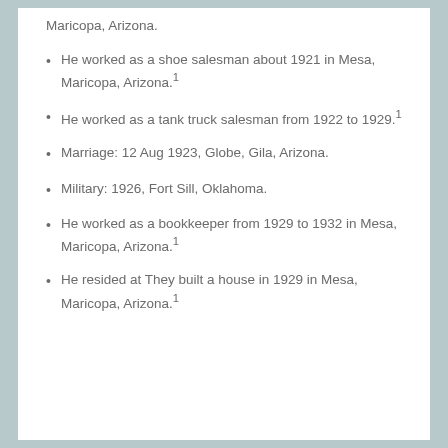Maricopa, Arizona.
He worked as a shoe salesman about 1921 in Mesa, Maricopa, Arizona.¹
He worked as a tank truck salesman from 1922 to 1929.¹
Marriage: 12 Aug 1923, Globe, Gila, Arizona.
Military: 1926, Fort Sill, Oklahoma.
He worked as a bookkeeper from 1929 to 1932 in Mesa, Maricopa, Arizona.¹
He resided at They built a house in 1929 in Mesa, Maricopa, Arizona.¹